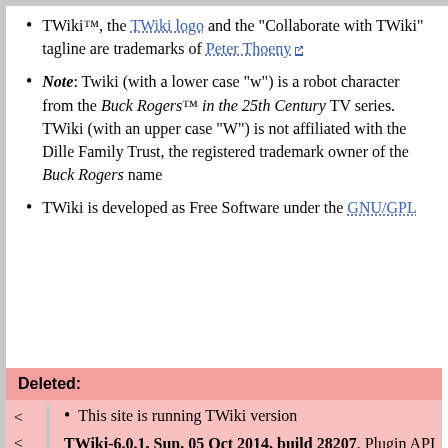TWiki™, the TWiki logo and the "Collaborate with TWiki" tagline are trademarks of Peter Thoeny
Note: Twiki (with a lower case "w") is a robot character from the Buck Rogers™ in the 25th Century TV series. TWiki (with an upper case "W") is not affiliated with the Dille Family Trust, the registered trademark owner of the Buck Rogers name
TWiki is developed as Free Software under the GNU/GPL
Deleted:
This site is running TWiki version TWiki-6.0.1, Sun, 05 Oct 2014, build 28207, Plugin API version